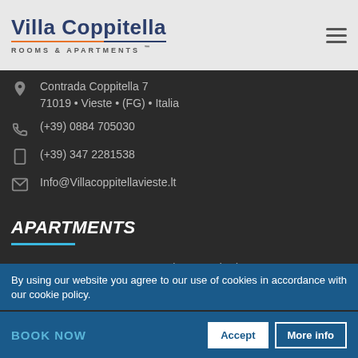Villa Coppitella — ROOMS & APARTMENTS
Contrada Coppitella 7
71019 • Vieste • (FG) • Italia
(+39) 0884 705030
(+39) 347 2281538
Info@Villacoppitellavieste.lt
APARTMENTS
One-Room Apartment – Sea View Standard
B&B Room
One-Room Apartment – Sea View
Two-Room Apartment - 2/3 People
By using our website you agree to our use of cookies in accordance with our cookie policy.
BOOK NOW  Accept  More info